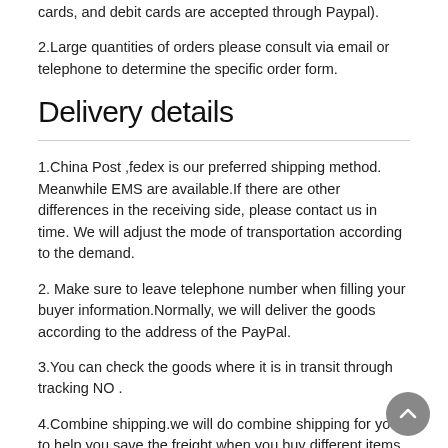cards, and debit cards are accepted through Paypal).
2.Large quantities of orders please consult via email or telephone to determine the specific order form.
Delivery details
1.China Post ,fedex is our preferred shipping method. Meanwhile EMS are available.If there are other differences in the receiving side, please contact us in time. We will adjust the mode of transportation according to the demand.
2. Make sure to leave telephone number when filling your buyer information.Normally, we will deliver the goods according to the address of the PayPal.
3.You can check the goods where it is in transit through tracking NO .
4.Combine shipping.we will do combine shipping for you to help you save the freight when you buy different items though our website.as long as you choose the same express company to